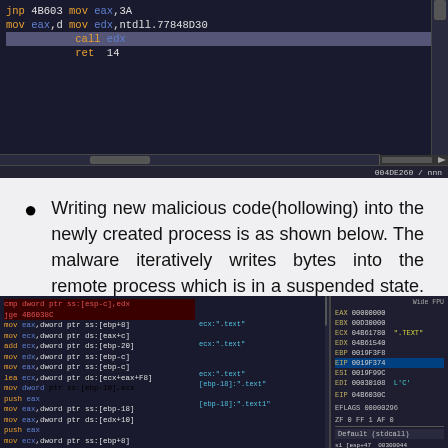[Figure (screenshot): Debugger/disassembler window showing assembly code: jmp 4B603, mov eax,3A, mov eax,d, mov edx,ntdll.77848D30, call edx, ret 14. Dark background with syntax highlighting.]
Writing new malicious code(hollowing) into the newly created process is as shown below. The malware iteratively writes bytes into the remote process which is in a suspended state. The changes are made segment by segment(.text, .data etc).
[Figure (screenshot): Debugger window showing assembly code for process hollowing. Left panel shows instructions: cmp dword ptr ss:[esp-c],edx, jge 4B6038C, mov eax/ecx dword ptr operations, lea ecx dword ptr ds:[ecx+eax+F8], push/pop operations. Center annotations show ecx='.text', [ebp-18]='.text'. Right register panel shows EAX 00000000, EBX 00D30000, ECX 04B61780 '.TEXT', EDX 04B61540, EBP/EIP/ESI registers, EDI 00030108 L'C', EIP 04B6030C, EFLAGS 00000296, ZF PP 1 AP 0.]